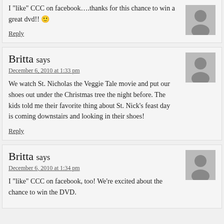I "like" CCC on facebook….thanks for this chance to win a great dvd!! 🙂
Reply
Britta says
December 6, 2010 at 1:33 pm
We watch St. Nicholas the Veggie Tale movie and put our shoes out under the Christmas tree the night before. The kids told me their favorite thing about St. Nick's feast day is coming downstairs and looking in their shoes!
Reply
Britta says
December 6, 2010 at 1:34 pm
I "like" CCC on facebook, too! We're excited about the chance to win the DVD.